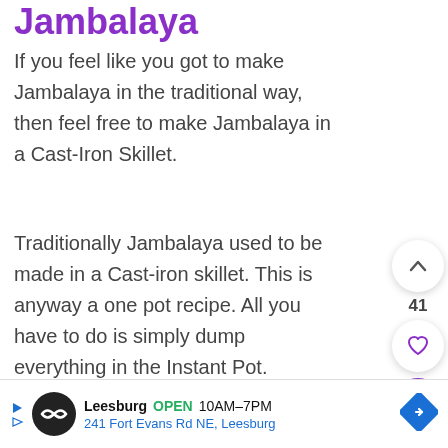Jambalaya
If you feel like you got to make Jambalaya in the traditional way, then feel free to make Jambalaya in a Cast-Iron Skillet.
Traditionally Jambalaya used to be made in a Cast-iron skillet. This is anyway a one pot recipe. All you have to do is simply dump everything in the Instant Pot.
Leesburg OPEN 10AM–7PM 241 Fort Evans Rd NE, Leesburg